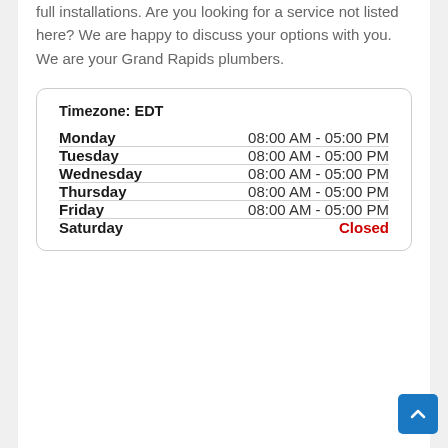Grand Rapids MI area residents can rely on, as well as full installations. Are you looking for a service not listed here? We are happy to discuss your options with you. We are your Grand Rapids plumbers.
| Day | Hours |
| --- | --- |
| Timezone: EDT |  |
| Monday | 08:00 AM - 05:00 PM |
| Tuesday | 08:00 AM - 05:00 PM |
| Wednesday | 08:00 AM - 05:00 PM |
| Thursday | 08:00 AM - 05:00 PM |
| Friday | 08:00 AM - 05:00 PM |
| Saturday | Closed |